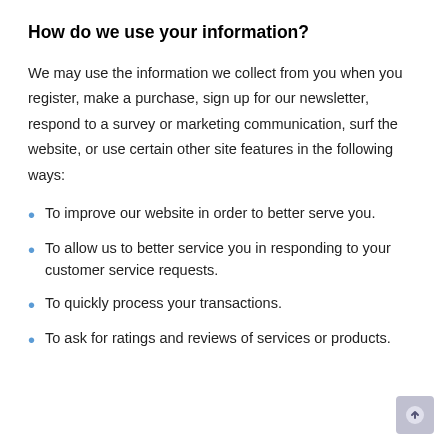How do we use your information?
We may use the information we collect from you when you register, make a purchase, sign up for our newsletter, respond to a survey or marketing communication, surf the website, or use certain other site features in the following ways:
To improve our website in order to better serve you.
To allow us to better service you in responding to your customer service requests.
To quickly process your transactions.
To ask for ratings and reviews of services or products.